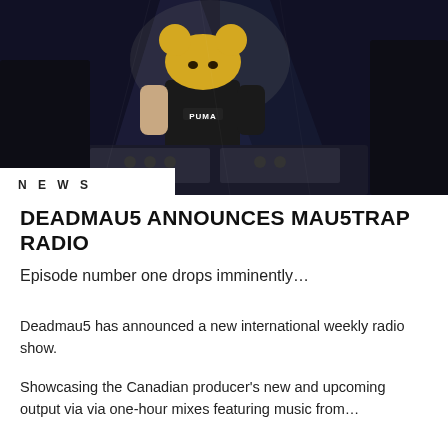[Figure (photo): DJ on stage wearing a mouse head mask and black Puma t-shirt, performing behind DJ equipment with dramatic stage lighting]
NEWS
DEADMAU5 ANNOUNCES MAU5TRAP RADIO
Episode number one drops imminently…
Deadmau5 has announced a new international weekly radio show.
Showcasing the Canadian producer's new and upcoming output via via one-hour mixes featuring music from…